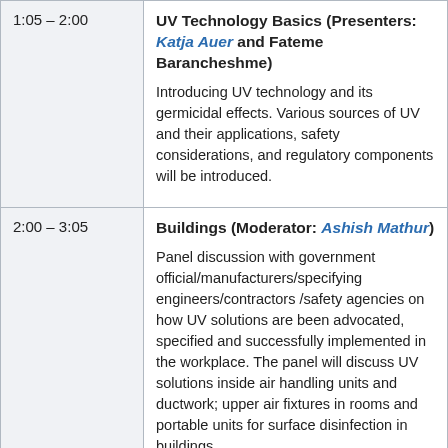| Time | Session |
| --- | --- |
| 1:05 – 2:00 | UV Technology Basics (Presenters: Katja Auer and Fateme Barancheshme)

Introducing UV technology and its germicidal effects. Various sources of UV and their applications, safety considerations, and regulatory components will be introduced. |
| 2:00 – 3:05 | Buildings (Moderator: Ashish Mathur)

Panel discussion with government official/manufacturers/specifying engineers/contractors /safety agencies on how UV solutions are been advocated, specified and successfully implemented in the workplace. The panel will discuss UV solutions inside air handling units and ductwork; upper air fixtures in rooms and portable units for surface disinfection in buildings.

• Laurene Weste, Mayor Pro Tem, City of Santa Clarita
• Dr. Paul Jensen, UV Industry Expert
• Brian Rodgers, Principal Engineer, Heating, |